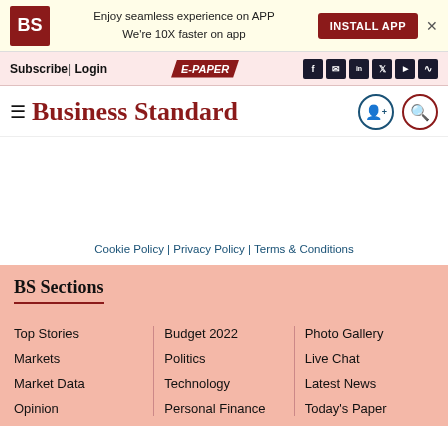BS | Enjoy seamless experience on APP We're 10X faster on app | INSTALL APP
Subscribe | Login | E-PAPER
Business Standard
Cookie Policy | Privacy Policy | Terms & Conditions
BS Sections
Top Stories
Markets
Market Data
Opinion
Budget 2022
Politics
Technology
Personal Finance
Photo Gallery
Live Chat
Latest News
Today's Paper